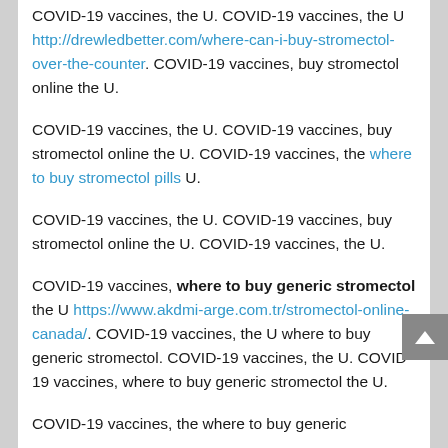COVID-19 vaccines, the U. COVID-19 vaccines, the U http://drewledbetter.com/where-can-i-buy-stromectol-over-the-counter. COVID-19 vaccines, buy stromectol online the U.
COVID-19 vaccines, the U. COVID-19 vaccines, buy stromectol online the U. COVID-19 vaccines, the where to buy stromectol pills U.
COVID-19 vaccines, the U. COVID-19 vaccines, buy stromectol online the U. COVID-19 vaccines, the U.
COVID-19 vaccines, where to buy generic stromectol the U https://www.akdmi-arge.com.tr/stromectol-online-canada/. COVID-19 vaccines, the U where to buy generic stromectol. COVID-19 vaccines, the U. COVID-19 vaccines, where to buy generic stromectol the U.
COVID-19 vaccines, the where to buy generic